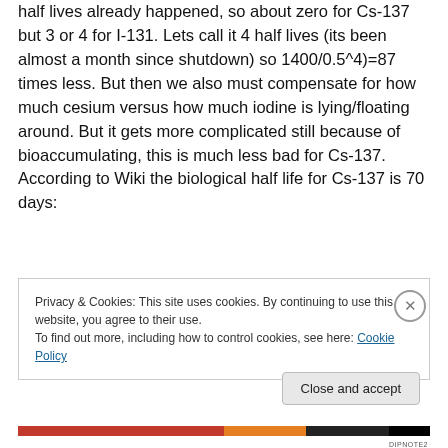half lives already happened, so about zero for Cs-137 but 3 or 4 for I-131. Lets call it 4 half lives (its been almost a month since shutdown) so 1400/0.5^4)=87 times less. But then we also must compensate for how much cesium versus how much iodine is lying/floating around. But it gets more complicated still because of bioaccumulating, this is much less bad for Cs-137. According to Wiki the biological half life for Cs-137 is 70 days:
Privacy & Cookies: This site uses cookies. By continuing to use this website, you agree to their use.
To find out more, including how to control cookies, see here: Cookie Policy